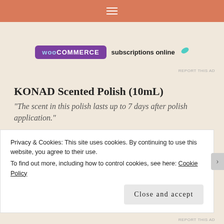Navigation bar with hamburger menu
[Figure (screenshot): WooCommerce advertisement banner showing 'WooCommerce subscriptions online' with a teal leaf logo]
KONAD Scented Polish (10mL)
“The scent in this polish lasts up to 7 days after polish application.”
[Figure (photo): Dark navy/black nail polish bottle cap viewed from above against a light background]
Privacy & Cookies: This site uses cookies. By continuing to use this website, you agree to their use.
To find out more, including how to control cookies, see here: Cookie Policy
Close and accept